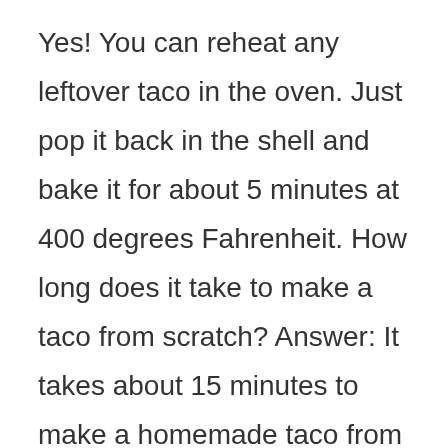Yes! You can reheat any leftover taco in the oven. Just pop it back in the shell and bake it for about 5 minutes at 400 degrees Fahrenheit. How long does it take to make a taco from scratch? Answer: It takes about 15 minutes to make a homemade taco from start to finish. Start by preheating your oven to 350 degrees Fahrenheit. Then, mix together the corn tortillas, ground beef,